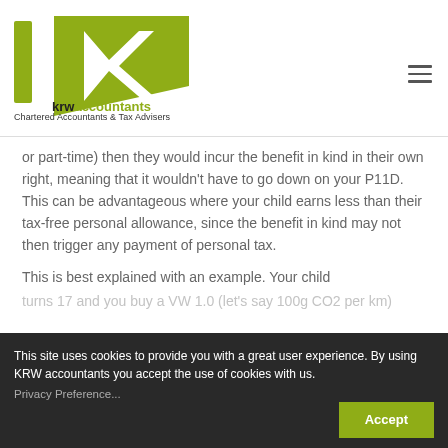[Figure (logo): KRW Accountants logo — green angular K shape with 'krwaccountants' text below, and 'Chartered Accountants & Tax Advisers' tagline]
or part-time) then they would incur the benefit in kind in their own right, meaning that it wouldn't have to go down on your P11D. This can be advantageous where your child earns less than their tax-free personal allowance, since the benefit in kind may not then trigger any payment of personal tax.
This is best explained with an example. Your child turns 17 and you buy a VW 1.0 (let's say 100g CO2 per km) emissions of 100g/km.
This site uses cookies to provide you with a great user experience. By using KRW accountants you accept the use of cookies with us.